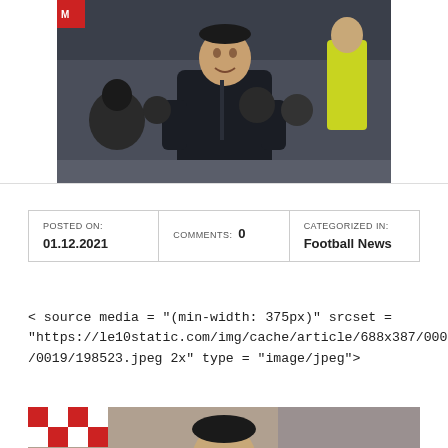[Figure (photo): A man in a black puffer jacket standing on a football sideline, smiling, with people seated behind him including someone in a yellow vest.]
| POSTED ON: | COMMENTS: | CATEGORIZED IN: |
| --- | --- | --- |
| 01.12.2021 | 0 | Football News |
< source media = "(min-width: 375px)" srcset = "https://le10static.com/img/cache/article/688x387/0000/0019/198523.jpeg 2x" type = "image/jpeg">
[Figure (photo): Bottom portion of a second photo showing a man's face partially visible at the bottom of the page.]